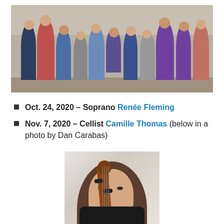[Figure (photo): Group photo of musicians/performers standing in front of a wooden barn wall]
Oct. 24, 2020 – Soprano Renée Fleming
Nov. 7, 2020 – Cellist Camille Thomas (below in a photo by Dan Carabas)
[Figure (photo): Portrait photo of cellist Camille Thomas holding a cello, photo by Dan Carabas]